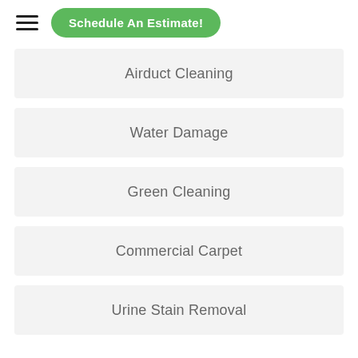[Figure (screenshot): Navigation header with hamburger menu icon and green 'Schedule An Estimate!' button]
Airduct Cleaning
Water Damage
Green Cleaning
Commercial Carpet
Urine Stain Removal